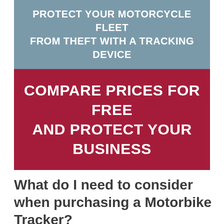PROTECT YOUR MOTORCYCLE FLEET FROM THEFT WITH A TRACKING DEVICE
COMPARE PRICES FOR FREE AND PROTECT YOUR BUSINESS
What do I need to consider when purchasing a Motorbike Tracker?